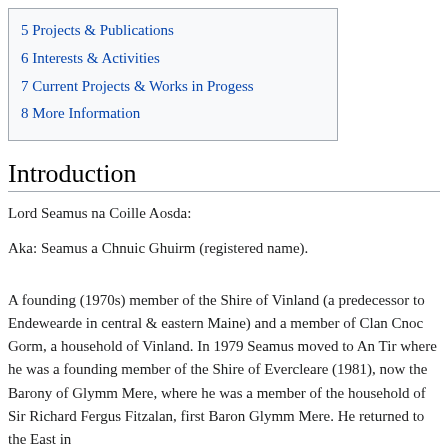5 Projects & Publications
6 Interests & Activities
7 Current Projects & Works in Progess
8 More Information
Introduction
Lord Seamus na Coille Aosda:
Aka: Seamus a Chnuic Ghuirm (registered name).
A founding (1970s) member of the Shire of Vinland (a predecessor to Endewearde in central & eastern Maine) and a member of Clan Cnoc Gorm, a household of Vinland. In 1979 Seamus moved to An Tir where he was a founding member of the Shire of Evercleare (1981), now the Barony of Glymm Mere, where he was a member of the household of Sir Richard Fergus Fitzalan, first Baron Glymm Mere. He returned to the East in